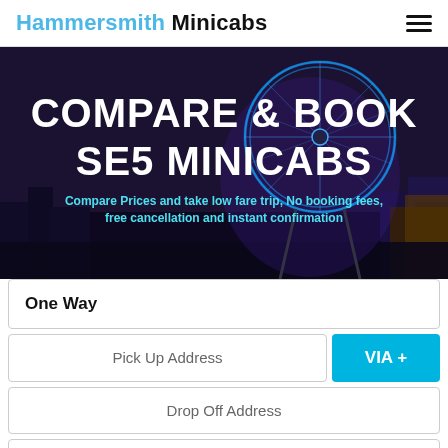Hammersmith Minicabs
[Figure (screenshot): Hero banner with night cityscape background (London Eye illuminated in blue), showing the text 'COMPARE & BOOK SE5 MINICABS' and subtitle 'Compare Prices and take low fare trip, No booking fees, free cancellation and instant confirmation']
COMPARE & BOOK SE5 MINICABS
Compare Prices and take low fare trip, No booking fees, free cancellation and instant confirmation
One Way
Pick Up Address
VIA +
Drop Off Address
21-08-2022 17:42